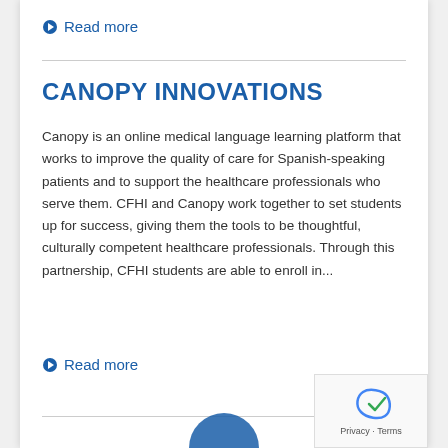Read more
CANOPY INNOVATIONS
Canopy is an online medical language learning platform that works to improve the quality of care for Spanish-speaking patients and to support the healthcare professionals who serve them. CFHI and Canopy work together to set students up for success, giving them the tools to be thoughtful, culturally competent healthcare professionals. Through this partnership, CFHI students are able to enroll in...
Read more